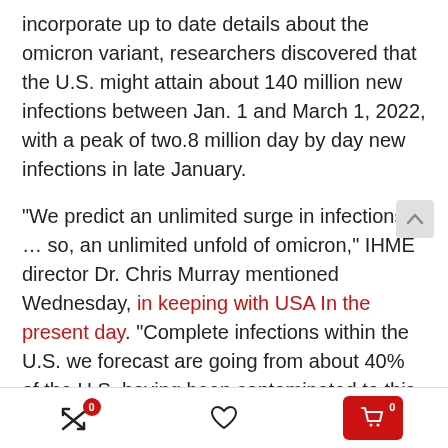incorporate up to date details about the omicron variant, researchers discovered that the U.S. might attain about 140 million new infections between Jan. 1 and March 1, 2022, with a peak of two.8 million day by day new infections in late January.
“We predict an unlimited surge in infections … so, an unlimited unfold of omicron,” IHME director Dr. Chris Murray mentioned Wednesday, in keeping with USA In the present day. “Complete infections within the U.S. we forecast are going from about 40% of the U.S. having been contaminated to this point, to having within the subsequent 2 to three months, 60% of the U.S. getting contaminated with omicron.”
[Figure (other): Bottom navigation bar with shuffle/arrows icon with badge 0, heart/wishlist icon, and red cart button with badge 0]